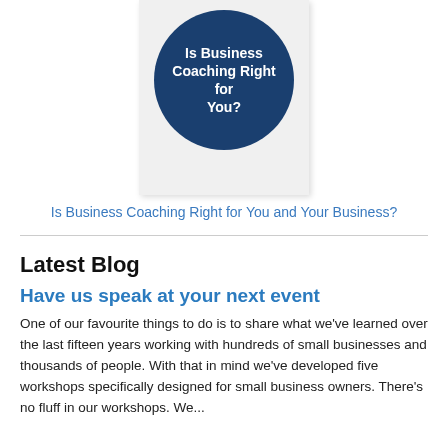[Figure (illustration): A book card with a dark navy blue circle badge containing white bold text: 'Is Business Coaching Right for You?']
Is Business Coaching Right for You and Your Business?
Latest Blog
Have us speak at your next event
One of our favourite things to do is to share what we've learned over the last fifteen years working with hundreds of small businesses and thousands of people. With that in mind we've developed five workshops specifically designed for small business owners. There's no fluff in our workshops. We...